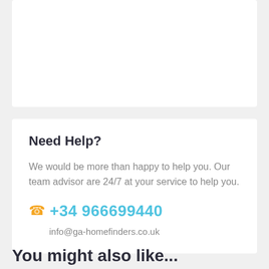Need Help?
We would be more than happy to help you. Our team advisor are 24/7 at your service to help you.
+34 966699440
info@ga-homefinders.co.uk
You might also like...